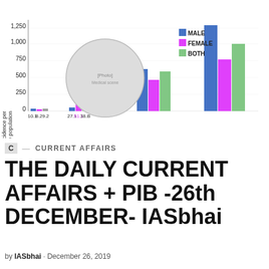[Figure (grouped-bar-chart): Cancer incidence per 1,00,000 population]
and 54 was higher than in men, the trend reversed for patients aged 55 and above in 2018
C — CURRENT AFFAIRS
THE DAILY CURRENT AFFAIRS + PIB -26th DECEMBER- IASbhai
by IASbhai · December 26, 2019